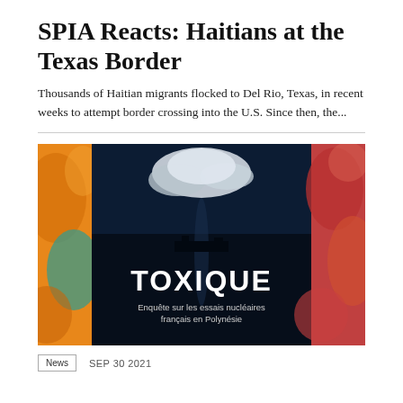SPIA Reacts: Haitians at the Texas Border
Thousands of Haitian migrants flocked to Del Rio, Texas, in recent weeks to attempt border crossing into the U.S. Since then, the...
[Figure (photo): Book cover image for 'TOXIQUE – Enquête sur les essais nucléaires français en Polynésie', showing a ship on a dark ocean under dramatic clouds, flanked by orange/red and teal watercolor-style panels.]
News   SEP 30 2021